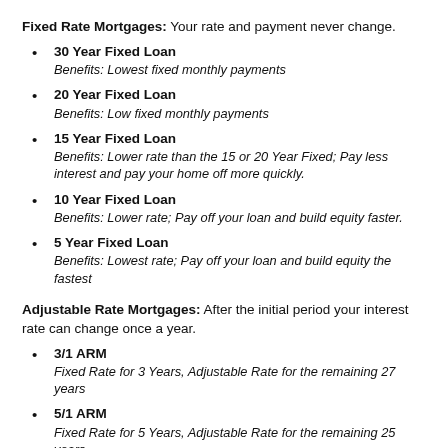Fixed Rate Mortgages: Your rate and payment never change.
30 Year Fixed Loan
Benefits: Lowest fixed monthly payments
20 Year Fixed Loan
Benefits: Low fixed monthly payments
15 Year Fixed Loan
Benefits: Lower rate than the 15 or 20 Year Fixed; Pay less interest and pay your home off more quickly.
10 Year Fixed Loan
Benefits: Lower rate; Pay off your loan and build equity faster.
5 Year Fixed Loan
Benefits: Lowest rate; Pay off your loan and build equity the fastest
Adjustable Rate Mortgages: After the initial period your interest rate can change once a year.
3/1 ARM
Fixed Rate for 3 Years, Adjustable Rate for the remaining 27 years
5/1 ARM
Fixed Rate for 5 Years, Adjustable Rate for the remaining 25 years
7/1 ARM